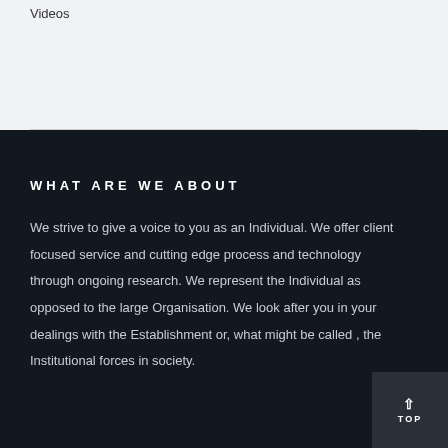Videos
WHAT ARE WE ABOUT
We strive to give a voice to you as an Individual. We offer client focused service and cutting edge process and technology through ongoing research. We represent the Individual as opposed to the large Organisation. We look after you in your dealings with the Establishment or, what might be called , the Institutional forces in society.
TOP